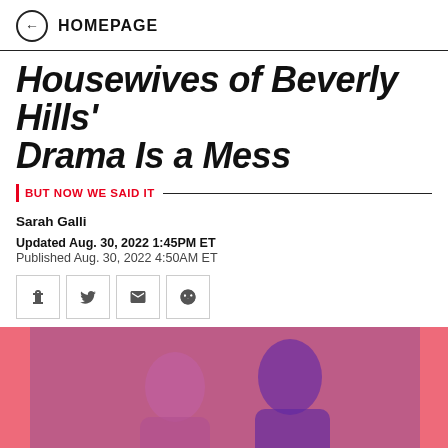← HOMEPAGE
Housewives of Beverly Hills' Drama Is a Mess
BUT NOW WE SAID IT
Sarah Galli
Updated Aug. 30, 2022 1:45PM ET
Published Aug. 30, 2022 4:50AM ET
[Figure (other): Share buttons row: Facebook, Twitter, Email, Reddit icons in bordered squares]
[Figure (photo): Duotone pink and purple photo of two women, Real Housewives of Beverly Hills cast members]